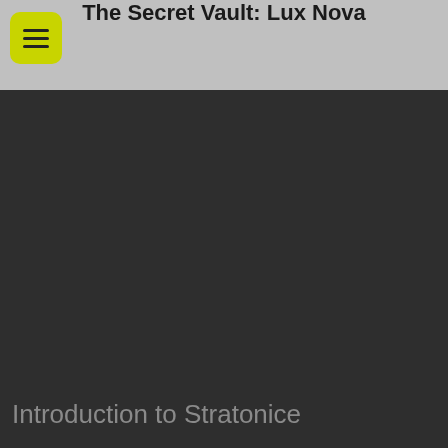The Secret Vault: Lux Nova
[Figure (other): Dark background content area with no visible imagery]
Introduction to Stratonice